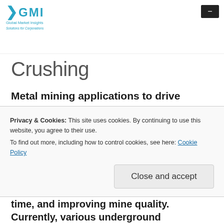GMI Global Market Insights — logo and navigation header
Crushing
Metal mining applications to drive mining equipment market, increasing popularity of fuel-efficient equipment to
Privacy & Cookies: This site uses cookies. By continuing to use this website, you agree to their use.
To find out more, including how to control cookies, see here: Cookie Policy
Close and accept
time, and improving mine quality. Currently, various underground